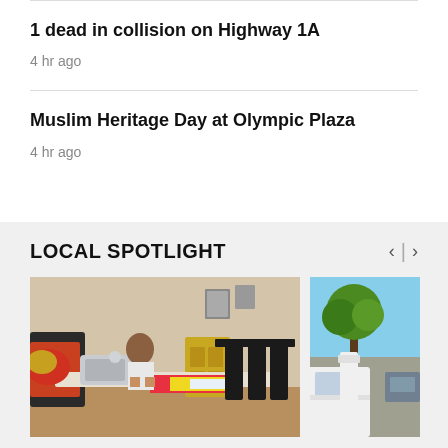1 dead in collision on Highway 1A
4 hr ago
Muslim Heritage Day at Olympic Plaza
4 hr ago
LOCAL SPOTLIGHT
[Figure (photo): Woman sewing at a table with a sewing machine in a home setting]
[Figure (photo): Outdoor scene with a tree and vehicle, partially visible]